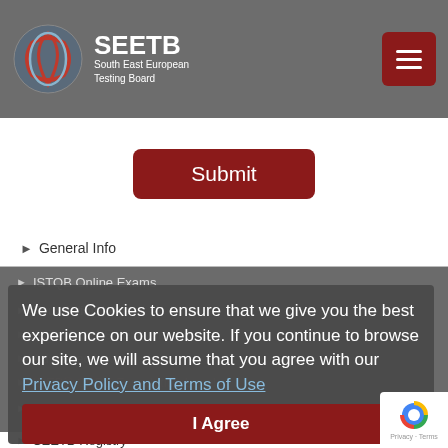SEETB South East European Testing Board
Submit
General Info
ISTQB Online Exams
Foundation Level
Agile Tester Extension
Advanced Level
We use Cookies to ensure that we give you the best experience on our website. If you continue to browse our site, we will assume that you agree with our Privacy Policy and Terms of Use
IREB® CPRE Foundation Level
I Agree
Book an Exam
SEETB Registry